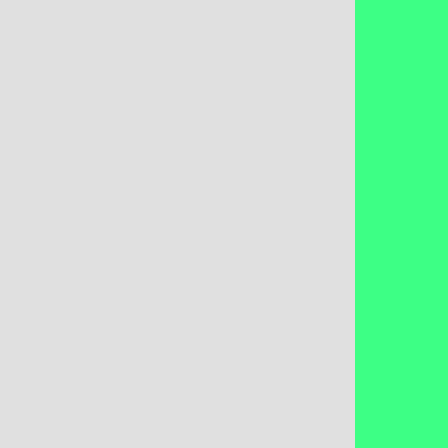[Figure (screenshot): Source code screenshot showing C/Pike code with a gray panel on the left, a green highlighted panel in the center, and code text visible on the right side, partially cropped. The code shows closing braces, PMOD_EXPORT block, struct declarations, add_ref, setter->f, return statement, a doc comment block with @decl, Get a se-, @seealso, @[obje, and PIKEFUN func declaration.]